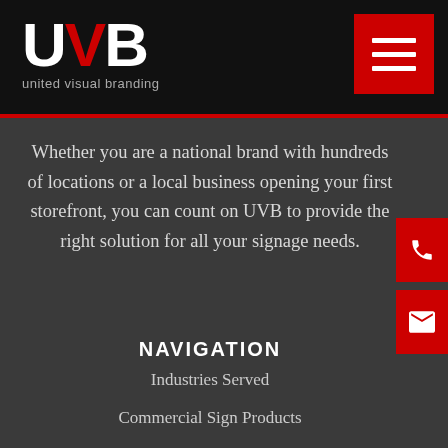[Figure (logo): UVB (United Visual Branding) logo — white U, red V, white B in large bold letters with tagline 'united visual branding' in grey below]
[Figure (other): Red hamburger menu button with three white horizontal lines]
Whether you are a national brand with hundreds of locations or a local business opening your first storefront, you can count on UVB to provide the right solution for all your signage needs.
[Figure (other): Red phone call button on right edge]
[Figure (other): Red email button on right edge]
NAVIGATION
Industries Served
Commercial Sign Products
Portfolio